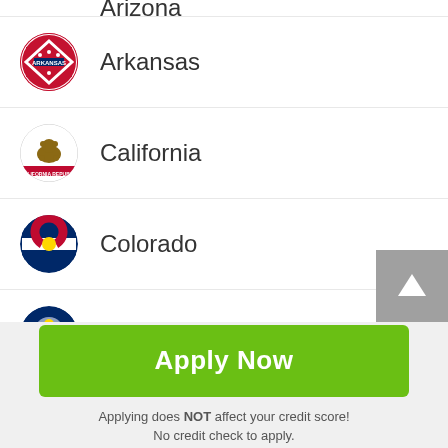Arizona
Arkansas
California
Colorado
Connecticut
Delaware
Apply Now
Applying does NOT affect your credit score!
No credit check to apply.